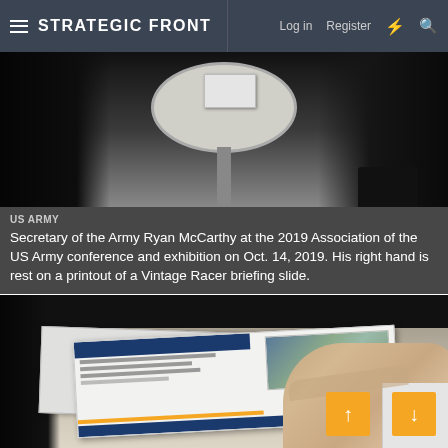STRATEGIC FRONT | Log in  Register
[Figure (photo): Top portion of a conference scene showing people standing around a round table with papers, viewed from mid-body down]
US ARMY
Secretary of the Army Ryan McCarthy at the 2019 Association of the US Army conference and exhibition on Oct. 14, 2019. His right hand is rest on a printout of a Vintage Racer briefing slide.
[Figure (photo): Close-up of a desk with briefing documents/slides, a hand resting on a Vintage Racer briefing printout, pens and objects on the table surface]